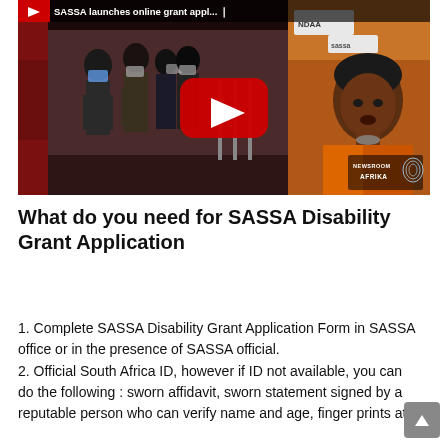[Figure (screenshot): YouTube video thumbnail showing 'SASSA launches online grant appl...' with a YouTube play button overlay. Left side shows people in masks walking in an office building, right side shows a woman in an orange jacket speaking. Newsroom Afrika logo in bottom right corner.]
What do you need for SASSA Disability Grant Application
1. Complete SASSA Disability Grant Application Form in SASSA office or in the presence of SASSA official.
2. Official South Africa ID, however if ID not available, you can do the following : sworn affidavit, sworn statement signed by a reputable person who can verify name and age, finger prints at